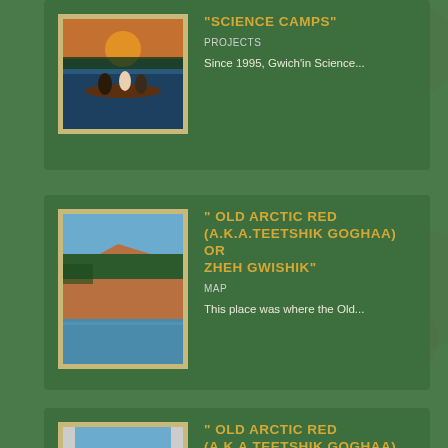[Figure (photo): Photo of people in a canoe on a lake at sunset]
"SCIENCE CAMPS"
PROJECTS
Since 1995, Gwich'in Science...
[Figure (photo): Photo of a river bank with trees and cliffs under blue sky]
" OLD ARCTIC RED (A.K.A.TEETSHIK GOGHAA) OR ZHEH GWISHIK"
MAP
This place was where the Old...
[Figure (photo): Photo of a river bank with trees and cliffs under blue sky]
" OLD ARCTIC RED (A.K.A.TEETSHIK GOGHAA) OR ZHEH GWISHIK"
MAP